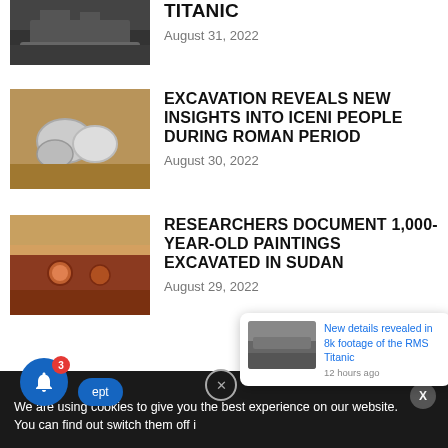[Figure (photo): Partial view of the RMS Titanic ship at sea, dark image, cropped at top]
TITANIC
August 31, 2022
[Figure (photo): Fossilized shells or stones embedded in sand/earth, archaeological find]
EXCAVATION REVEALS NEW INSIGHTS INTO ICENI PEOPLE DURING ROMAN PERIOD
August 30, 2022
[Figure (photo): Ancient painted pottery or artifact with circular designs, excavated in Sudan]
RESEARCHERS DOCUMENT 1,000-YEAR-OLD PAINTINGS EXCAVATED IN SUDAN
August 29, 2022
We are using cookies to give you the best experience on our website.
You can find out switch them off i
[Figure (photo): Black and white photo of the RMS Titanic ship]
New details revealed in 8k footage of the RMS Titanic
12 hours ago